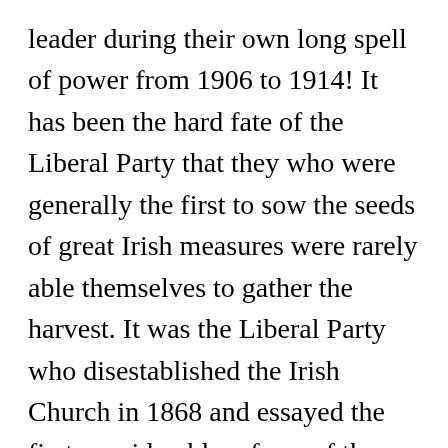leader during their own long spell of power from 1906 to 1914! It has been the hard fate of the Liberal Party that they who were generally the first to sow the seeds of great Irish measures were rarely able themselves to gather the harvest. It was the Liberal Party who disestablished the Irish Church in 1868 and essayed the first considerable reform of the Irish Land Laws in 1881, but it was only the Tory Party who could have ended the Agrarian War by abolishing Feudal Landlordism root-and-branch, and it was only a combination of the two Parties which could have beguiled England into submitting to the Irish Free State Treaty of 1921. For Irish Nationalists, at all events, the